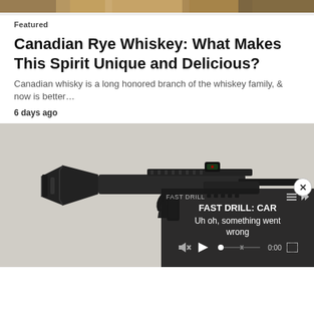[Figure (photo): Top partial image showing what appears to be a decorative or bar scene background, cropped at top of page]
Featured
Canadian Rye Whiskey: What Makes This Spirit Unique and Delicious?
Canadian whisky is a long honored branch of the whiskey family, & now is better…
6 days ago
[Figure (photo): Photo of a black compact semi-automatic firearm/rifle with folding stock and red dot sight, with a video player overlay in bottom right showing 'FAST DRILL: CAR' title and 'Uh oh, something went wrong' error message with playback controls]